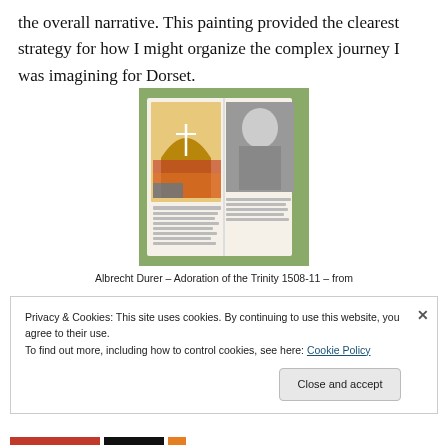the overall narrative. This painting provided the clearest strategy for how I might organize the complex journey I was imagining for Dorset.
[Figure (photo): An open book showing a colorful reproduction of Albrecht Durer's Adoration of the Trinity (1508-11), a Renaissance painting depicting a large crowd of figures gathered around a crucifixion scene, with a black and white portrait visible on the adjacent page. The book is placed on a green surface.]
Albrecht Durer – Adoration of the Trinity 1508-11 – from
Privacy & Cookies: This site uses cookies. By continuing to use this website, you agree to their use.
To find out more, including how to control cookies, see here: Cookie Policy